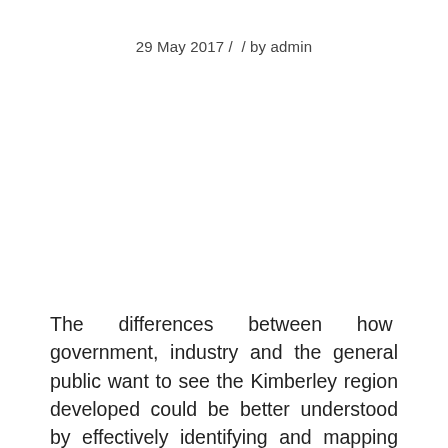29 May 2017 /  / by admin
The differences between how government, industry and the general public want to see the Kimberley region developed could be better understood by effectively identifying and mapping social values according to